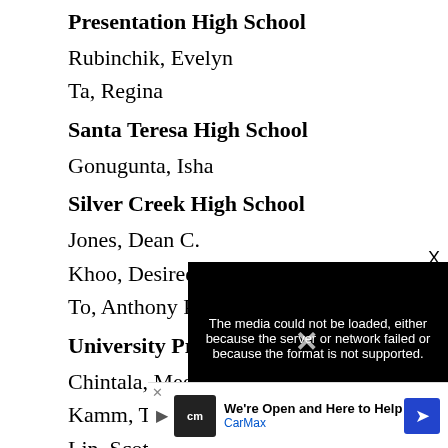Presentation High School
Rubinchik, Evelyn
Ta, Regina
Santa Teresa High School
Gonugunta, Isha
Silver Creek High School
Jones, Dean C.
Khoo, Desiree H.
To, Anthony P.
University Preparatory
Chintala, Meghana
Kamm, Thomas G.
Lin, Scott J.
Tran, Rowan-James
Valle
Rakt